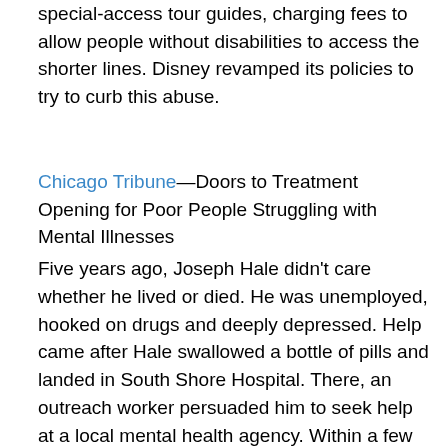special-access tour guides, charging fees to allow people without disabilities to access the shorter lines. Disney revamped its policies to try to curb this abuse.
Chicago Tribune—Doors to Treatment Opening for Poor People Struggling with Mental Illnesses
Five years ago, Joseph Hale didn't care whether he lived or died. He was unemployed, hooked on drugs and deeply depressed. Help came after Hale swallowed a bottle of pills and landed in South Shore Hospital. There, an outreach worker persuaded him to seek help at a local mental health agency. Within a few months, Hale was living in a men's residence, going to group therapy every day, and beginning to feel secure for the first time in his life.